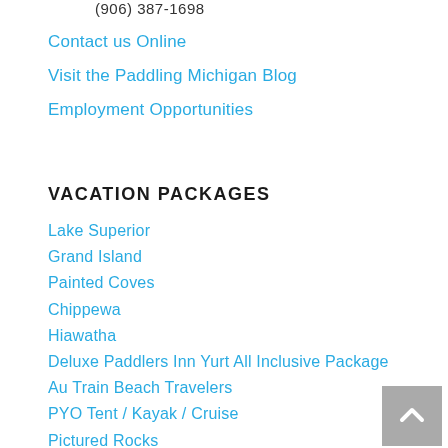(906) 387-1698
Contact us Online
Visit the Paddling Michigan Blog
Employment Opportunities
VACATION PACKAGES
Lake Superior
Grand Island
Painted Coves
Chippewa
Hiawatha
Deluxe Paddlers Inn Yurt All Inclusive Package
Au Train Beach Travelers
PYO Tent / Kayak / Cruise
Pictured Rocks
Northern Lights Tipi Package
Paddlers Inn All Inclusive
Cliff Line Cruises